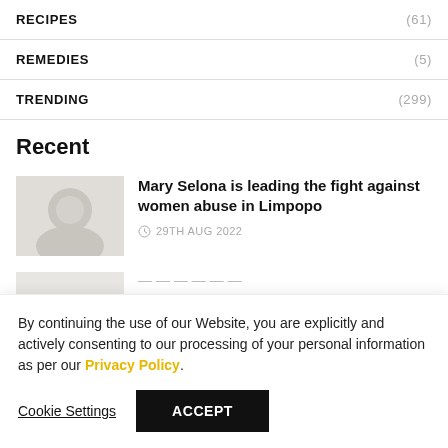RECIPES (61)
REMEDIES (5)
TRENDING (299)
Recent
Mary Selona is leading the fight against women abuse in Limpopo
29TH AUG 2022
By continuing the use of our Website, you are explicitly and actively consenting to our processing of your personal information as per our Privacy Policy.
Cookie Settings
ACCEPT